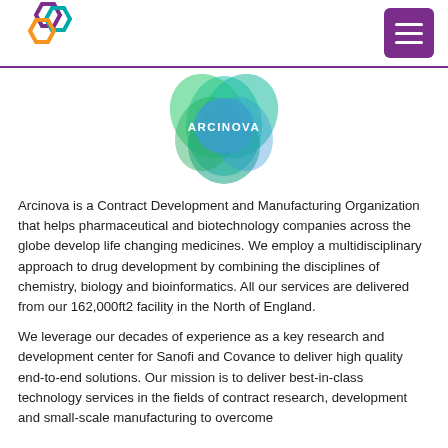[Figure (logo): Arcinova hexagon logo made of purple, teal, and orange interlocking hexagons]
[Figure (logo): Arcinova circular flower-shaped logo in teal, green, and blue gradient with ARCINOVA text in white]
Arcinova is a Contract Development and Manufacturing Organization that helps pharmaceutical and biotechnology companies across the globe develop life changing medicines. We employ a multidisciplinary approach to drug development by combining the disciplines of chemistry, biology and bioinformatics. All our services are delivered from our 162,000ft2 facility in the North of England.
We leverage our decades of experience as a key research and development center for Sanofi and Covance to deliver high quality end-to-end solutions. Our mission is to deliver best-in-class technology services in the fields of contract research, development and small-scale manufacturing to overcome